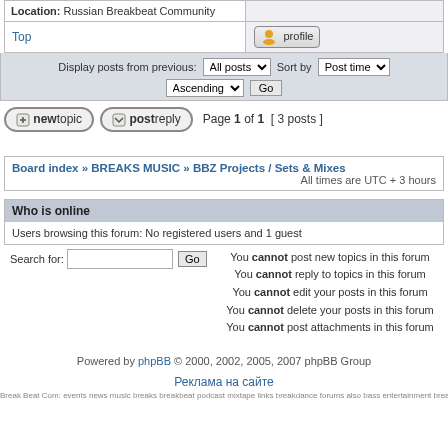| Location: Russian Breakbeat Community |  |
| Top | profile |
Display posts from previous: All posts Sort by Post time Ascending Go
newtopic  postreply  Page 1 of 1  [ 3 posts ]
Board index » BREAKS MUSIC » BBZ Projects / Sets & Mixes  All times are UTC + 3 hours
Who is online
Users browsing this forum: No registered users and 1 guest
Search for:  Go  You cannot post new topics in this forum You cannot reply to topics in this forum You cannot edit your posts in this forum You cannot delete your posts in this forum You cannot post attachments in this forum
Powered by phpBB © 2000, 2002, 2005, 2007 phpBB Group
Реклама на сайте